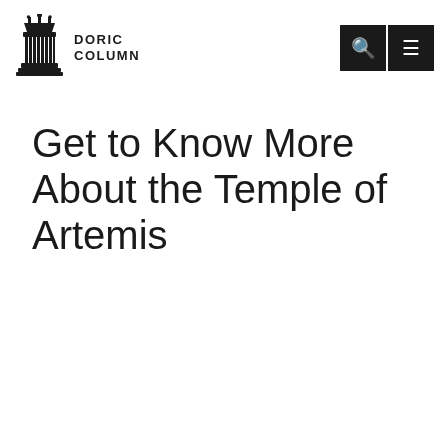DORIC COLUMN
Get to Know More About the Temple of Artemis